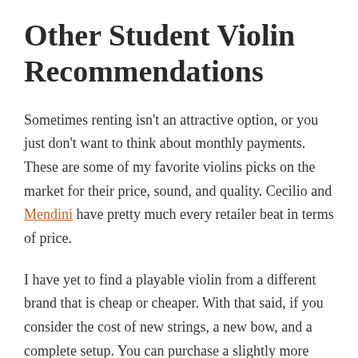Other Student Violin Recommendations
Sometimes renting isn't an attractive option, or you just don't want to think about monthly payments. These are some of my favorite violins picks on the market for their price, sound, and quality. Cecilio and Mendini have pretty much every retailer beat in terms of price.
I have yet to find a playable violin from a different brand that is cheap or cheaper. With that said, if you consider the cost of new strings, a new bow, and a complete setup. You can purchase a slightly more expensive and higher quality